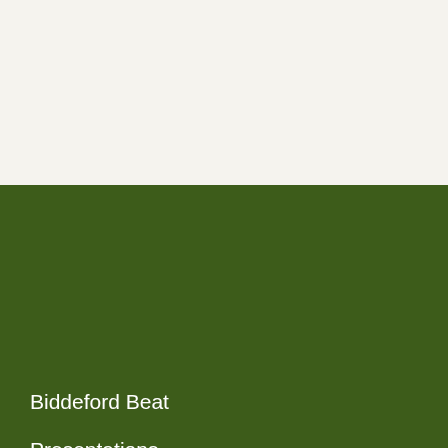[Figure (illustration): Top white/cream background area - blank upper portion of page]
Biddeford Beat
Presentations
Online Assessment Database
Economic Development